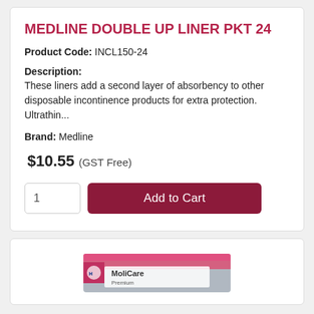MEDLINE DOUBLE UP LINER PKT 24
Product Code: INCL150-24
Description:
These liners add a second layer of absorbency to other disposable incontinence products for extra protection. Ultrathin...
Brand: Medline
$10.55 (GST Free)
[Figure (screenshot): Quantity input box showing '1' and a dark red 'Add to Cart' button]
[Figure (photo): Partial view of a MoliCare product box in pink and grey at the bottom of the page]